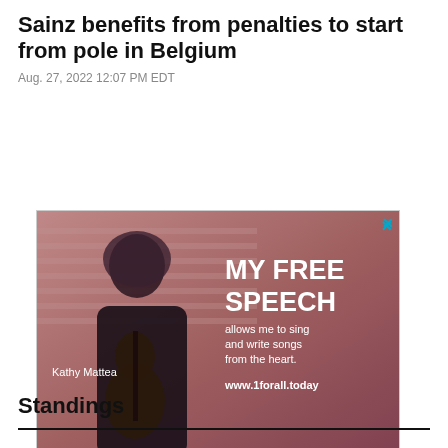Sainz benefits from penalties to start from pole in Belgium
Aug. 27, 2022 12:07 PM EDT
[Figure (photo): Advertisement featuring Kathy Mattea holding a guitar against a pink/red background with text: MY FREE SPEECH allows me to sing and write songs from the heart. www.1forall.today]
Standings